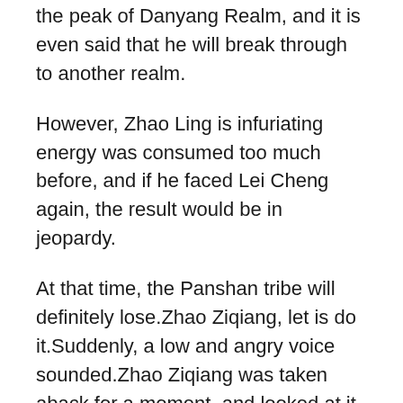the peak of Danyang Realm, and it is even said that he will break through to another realm.
However, Zhao Ling is infuriating energy was consumed too much before, and if he faced Lei Cheng again, the result would be in jeopardy.
At that time, the Panshan tribe will definitely lose.Zhao Ziqiang, let is do it.Suddenly, a low and angry voice sounded.Zhao Ziqiang was taken aback for a moment, and looked at it differently.I saw a Taishang elder come out and said angrily Everyone has called the can you get off of high blood pressure medicine door, do not we dare to fight You are right, a tribe that cannot even protect its own clan does not exist at all.
Why are there so many Zhao Ling smiled and said lightly This thing how to naturally lower cholesterol and blood pressure is not very useful to me, and if you want it, then I will give it to you.